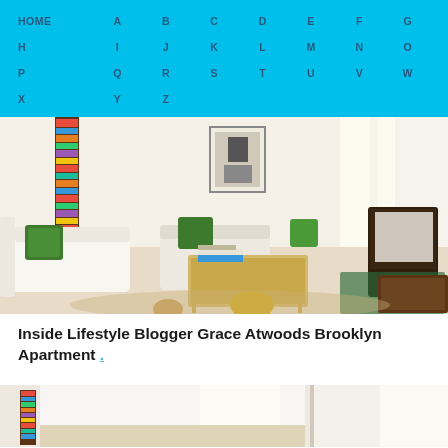HOME A B C D E F G H I J K L M N O P Q R S T U V W X Y Z
[Figure (photo): Interior photo of a bright Brooklyn apartment living room with white sofas, green tropical leaf pillows, gold coffee table, yellow ottoman, tall bookshelf, framed art, and dark wooden chair]
Inside Lifestyle Blogger Grace Atwoods Brooklyn Apartment .
[Figure (photo): Partial interior photo of apartment showing bookshelf and curtains]